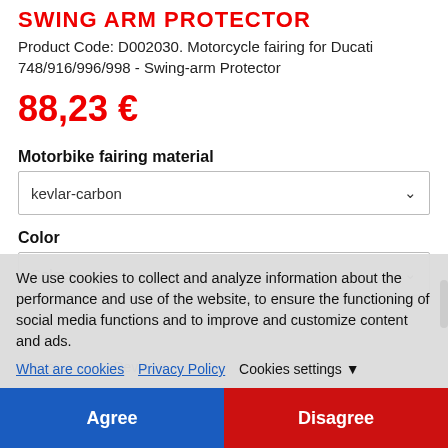SWING ARM PROTECTOR
Product Code: D002030. Motorcycle fairing for Ducati 748/916/996/998 - Swing-arm Protector
88,23 €
Motorbike fairing material
kevlar-carbon
Color
Select
We use cookies to collect and analyze information about the performance and use of the website, to ensure the functioning of social media functions and to improve and customize content and ads.
What are cookies  Privacy Policy  Cookies settings ▼
Agree
Disagree